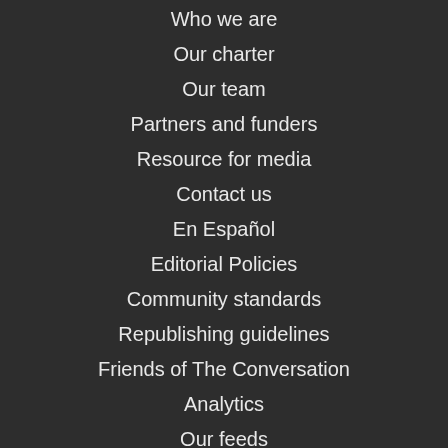Who we are
Our charter
Our team
Partners and funders
Resource for media
Contact us
En Español
Editorial Policies
Community standards
Republishing guidelines
Friends of The Conversation
Analytics
Our feeds
Donate
Get newsletter